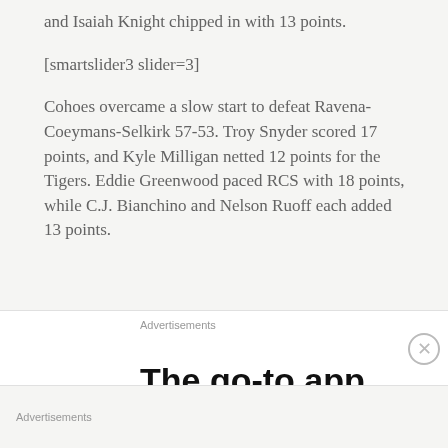and Isaiah Knight chipped in with 13 points.
[smartslider3 slider=3]
Cohoes overcame a slow start to defeat Ravena-Coeymans-Selkirk 57-53. Troy Snyder scored 17 points, and Kyle Milligan netted 12 points for the Tigers. Eddie Greenwood paced RCS with 18 points, while C.J. Bianchino and Nelson Ruoff each added 13 points.
Advertisements
[Figure (other): Advertisement banner showing 'The go-to app for podcast' text with a green triangle/arrow graphic]
Advertisements